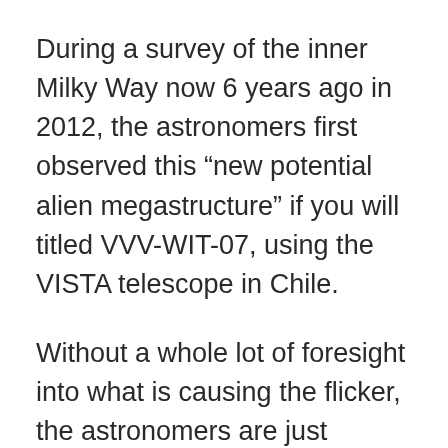During a survey of the inner Milky Way now 6 years ago in 2012, the astronomers first observed this “new potential alien megastructure” if you will titled VVV-WIT-07, using the VISTA telescope in Chile.
Without a whole lot of foresight into what is causing the flicker, the astronomers are just pointing out a star is flickering in an unexplainable, unusual way.
One article notes, “Routine scans of the